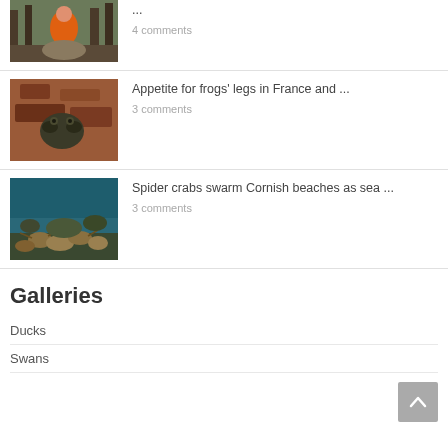[Figure (photo): Person in orange hunting jacket posing with a deer in a forest]
...
4 comments
[Figure (photo): A frog or toad sitting on reddish-brown bark or rocks]
Appetite for frogs' legs in France and ...
3 comments
[Figure (photo): Underwater photo of spider crabs swarming on a seabed]
Spider crabs swarm Cornish beaches as sea ...
3 comments
Galleries
Ducks
Swans